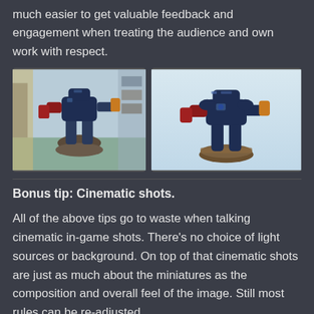much easier to get valuable feedback and engagement when treating the audience and own work with respect.
[Figure (photo): Two photos side by side of a painted Warhammer 40k Space Marine Dreadnought miniature on a base, shown from slightly different angles. Left photo has a cluttered background; right photo has a cleaner lighter background.]
Bonus tip: Cinematic shots.
All of the above tips go to waste when talking cinematic in-game shots. There's no choice of light sources or background. On top of that cinematic shots are just as much about the miniatures as the composition and overall feel of the image. Still most rules can be re-adjusted to work in the gaming area environment...